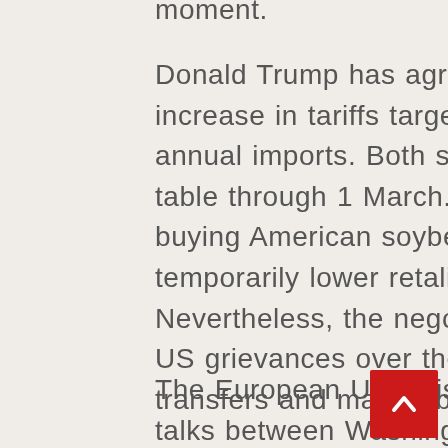moment.
Donald Trump has agreed to put on hold a scheduled increase in tariffs targeting around $200 billion in annual imports. Both sides will be at the negotiation table through 1 March. In return, Xi Jinping will start buying American soybean again and introduce temporarily lower retaliatory tariffs on American cars. Nevertheless, the negotiations are meant to address US grievances over the trade imbalance, technology transfers and market barriers.
The European Union is very interested in the upcoming talks between Washington and...